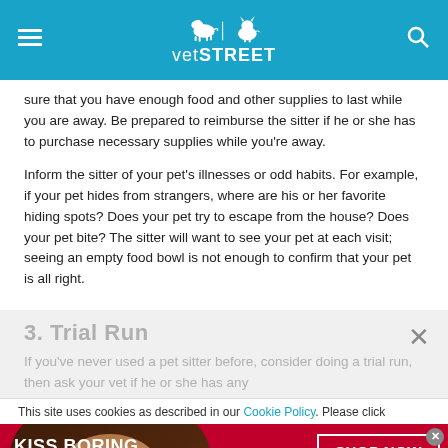vetSTREET
sure that you have enough food and other supplies to last while you are away. Be prepared to reimburse the sitter if he or she has to purchase necessary supplies while you’re away.
Inform the sitter of your pet’s illnesses or odd habits. For example, if your pet hides from strangers, where are his or her favorite hiding spots? Does your pet try to escape from the house? Does your pet bite? The sitter will want to see your pet at each visit; seeing an empty food bowl is not enough to confirm that your pet is all right.
3. Trial Run
If you’ve never used a pet sitter before, consider doing a trial run...
This site uses cookies as described in our Cookie Policy. Please click...
[Figure (other): Macy’s advertisement banner reading KISS BORING LIPS GOODBYE with SHOP NOW button and macy’s logo]